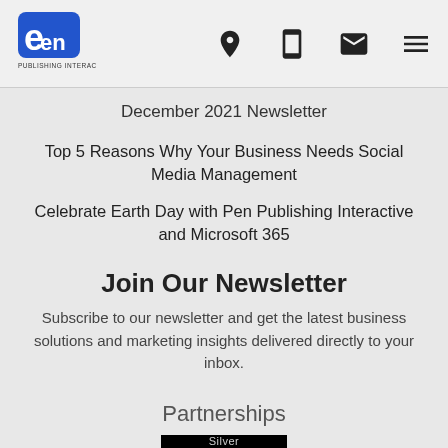Pen Publishing Interactive logo and navigation icons
December 2021 Newsletter
Top 5 Reasons Why Your Business Needs Social Media Management
Celebrate Earth Day with Pen Publishing Interactive and Microsoft 365
Join Our Newsletter
Subscribe to our newsletter and get the latest business solutions and marketing insights delivered directly to your inbox.
Partnerships
[Figure (logo): Silver Microsoft Partner badge — black background with 'Silver' in grey and 'Microsoft' in white bold text]